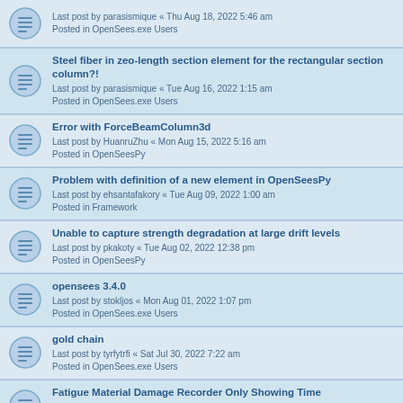Last post by parasismique « Thu Aug 18, 2022 5:46 am
Posted in OpenSees.exe Users
Steel fiber in zeo-length section element for the rectangular section column?!
Last post by parasismique « Tue Aug 16, 2022 1:15 am
Posted in OpenSees.exe Users
Error with ForceBeamColumn3d
Last post by HuanruZhu « Mon Aug 15, 2022 5:16 am
Posted in OpenSeesPy
Problem with definition of a new element in OpenSeesPy
Last post by ehsantafakory « Tue Aug 09, 2022 1:00 am
Posted in Framework
Unable to capture strength degradation at large drift levels
Last post by pkakoty « Tue Aug 02, 2022 12:38 pm
Posted in OpenSeesPy
opensees 3.4.0
Last post by stokljos « Mon Aug 01, 2022 1:07 pm
Posted in OpenSees.exe Users
gold chain
Last post by tyrfytrfi « Sat Jul 30, 2022 7:22 am
Posted in OpenSees.exe Users
Fatigue Material Damage Recorder Only Showing Time
Last post by jessycapage « Wed Jul 27, 2022 10:40 pm
Posted in OpenSees.exe Users
Question about "sp command"
Last post by shiro « Wed Jun 29, 2022 2:29 pm